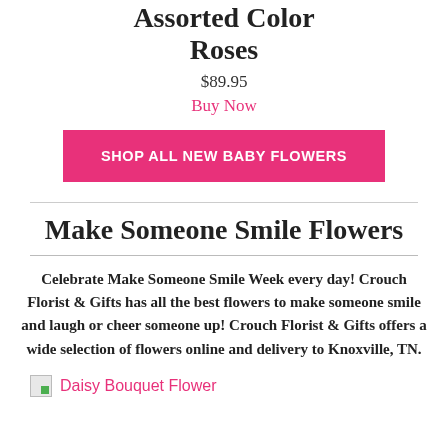Assorted Color Roses
$89.95
Buy Now
SHOP ALL NEW BABY FLOWERS
Make Someone Smile Flowers
Celebrate Make Someone Smile Week every day! Crouch Florist & Gifts has all the best flowers to make someone smile and laugh or cheer someone up! Crouch Florist & Gifts offers a wide selection of flowers online and delivery to Knoxville, TN.
Daisy Bouquet Flower